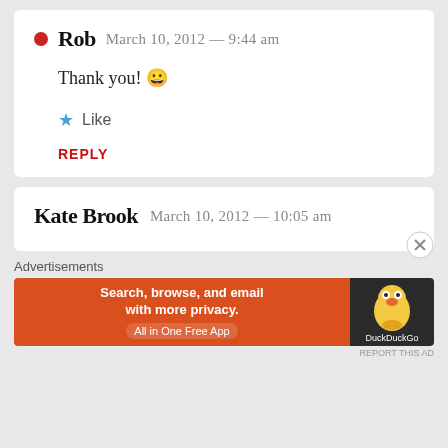Rob  March 10, 2012 — 9:44 am
Thank you! 😀
★ Like
REPLY
Kate Brook  March 10, 2012 — 10:05 am
Advertisements
Search, browse, and email with more privacy. All in One Free App